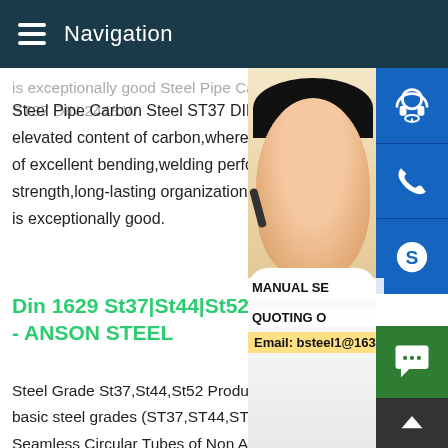Navigation
is exceptionally good Steel Pipe Carbon Steel ST37 DIN 2448 W elevated content of carbon,where it is hea of excellent bending,welding performance strength,long-lasting organizational stabilit is exceptionally good.
Din 1629 St37|St44|St52 Sea - ANSON STEEL
Steel Grade St37,St44,St52 Product Scop basic steel grades (ST37,ST44,ST52.),this Seamless Circular Tubes of Non Alloys Steels that are used in construction of chemical plant,pressure vessels,pipe system andDin 1626 St37 S355 1018 Astm A36 Steel Pipe Weight - B Packaging Details din 1626 st37 s355 1018 astm a36 steel pip weight 1.Regular packaging Bundles,losses;In bundle with stri in bulk 2.As your requirements 3.Quantity reference 25
[Figure (photo): Customer service representative woman with headset smiling, with contact icons (headset, phone, Skype) on the right side]
MANUAL SE
QUOTING O
Email: bsteel1@163.com